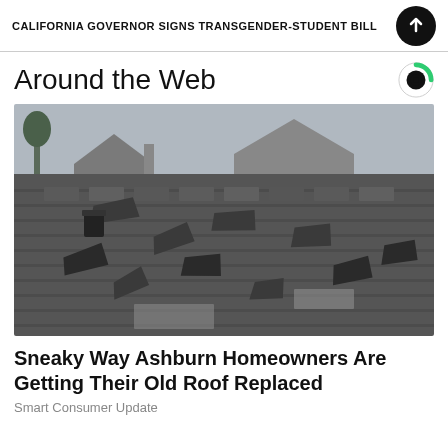CALIFORNIA GOVERNOR SIGNS TRANSGENDER-STUDENT BILL
Around the Web
[Figure (photo): Close-up photograph of a damaged residential roof with curling, cracked, and lifting dark asphalt shingles. A house and trees are visible in the background.]
Sneaky Way Ashburn Homeowners Are Getting Their Old Roof Replaced
Smart Consumer Update